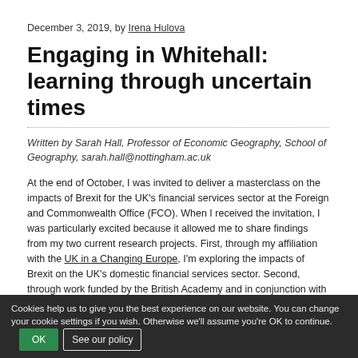December 3, 2019, by Irena Hulova
Engaging in Whitehall: learning through uncertain times
Written by Sarah Hall, Professor of Economic Geography, School of Geography, sarah.hall@nottingham.ac.uk
At the end of October, I was invited to deliver a masterclass on the impacts of Brexit for the UK's financial services sector at the Foreign and Commonwealth Office (FCO). When I received the invitation, I was particularly excited because it allowed me to share findings from my two current research projects. First, through my affiliation with the UK in a Changing Europe, I'm exploring the impacts of Brexit on the UK's domestic financial services sector. Second, through work funded by the British Academy and in conjunction with the University's Asia Research
Cookies help us to give you the best experience on our website. You can change your cookie settings if you wish. Otherwise we'll assume you're OK to continue.